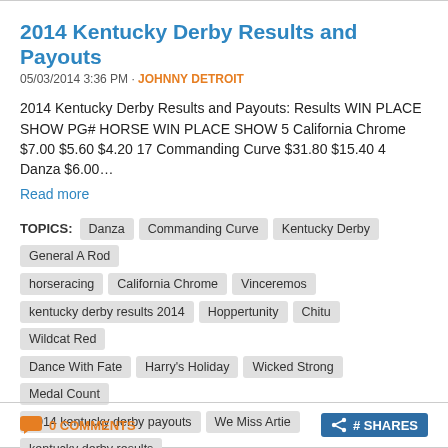2014 Kentucky Derby Results and Payouts
05/03/2014 3:36 PM · JOHNNY DETROIT
2014 Kentucky Derby Results and Payouts: Results WIN PLACE SHOW PG# HORSE WIN PLACE SHOW 5 California Chrome $7.00 $5.60 $4.20 17 Commanding Curve $31.80 $15.40 4 Danza $6.00…
Read more
TOPICS: Danza, Commanding Curve, Kentucky Derby, General A Rod, horseracing, California Chrome, Vinceremos, kentucky derby results 2014, Hoppertunity, Chitu, Wildcat Red, Dance With Fate, Harry's Holiday, Wicked Strong, Medal Count, 2014 kentucky derby payouts, We Miss Artie, kentucky derby results, Tapiture, kentucky derby payouts, 2014 kentucky derby, Candy Boy, Vicar's In Trouble, Intense Holiday, Ride On Curlin
0 COMMENTS  # SHARES